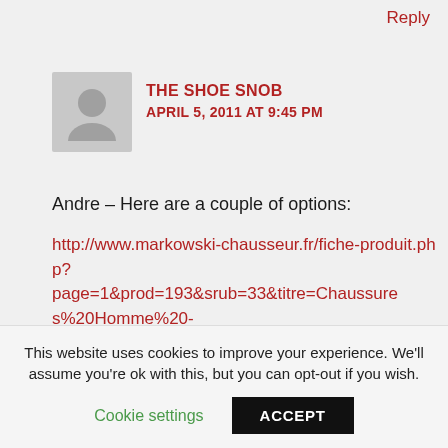Reply
THE SHOE SNOB
APRIL 5, 2011 AT 9:45 PM
Andre – Here are a couple of options:
http://www.markowski-chausseur.fr/fiche-produit.php?page=1&prod=193&srub=33&titre=Chaussures%20Homme%20-%20%3CFONT%20SIZE=2%3E%3CI%3E%3Cfont%20color=
This website uses cookies to improve your experience. We'll assume you're ok with this, but you can opt-out if you wish.
Cookie settings
ACCEPT